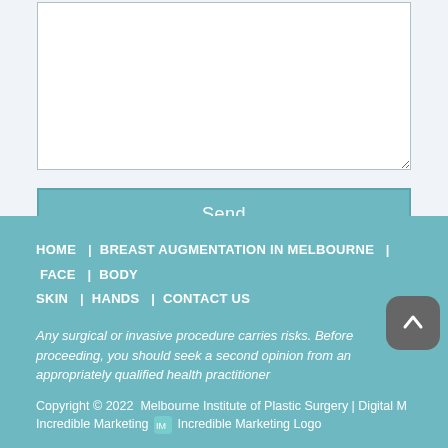[Figure (screenshot): A textarea input box (empty, white background, with resize handle at bottom-right)]
Send
HOME | BREAST AUGMENTATION IN MELBOURNE | FACE | BODY SKIN | HANDS | CONTACT US

Any surgical or invasive procedure carries risks. Before proceeding, you should seek a second opinion from an appropriately qualified health practitioner

Copyright © 2022  Melbourne Institute of Plastic Surgery | Digital M... Incredible Marketing [Incredible Marketing Logo]